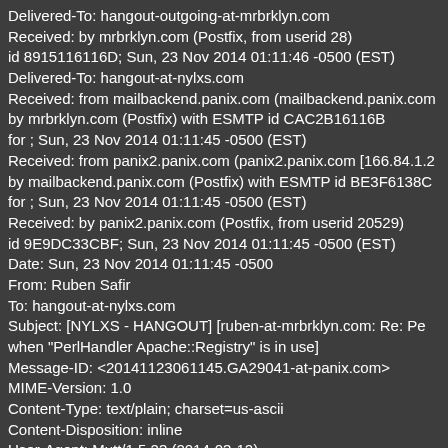Delivered-To: hangout-outgoing-at-mrbrklyn.com
Received: by mrbrklyn.com (Postfix, from userid 28)
id 8915116116D; Sun, 23 Nov 2014 01:11:46 -0500 (EST)
Delivered-To: hangout-at-nylxs.com
Received: from mailbackend.panix.com (mailbackend.panix.com
by mrbrklyn.com (Postfix) with ESMTP id CAC2B16116B
for ; Sun, 23 Nov 2014 01:11:45 -0500 (EST)
Received: from panix2.panix.com (panix2.panix.com [166.84.1.2]
by mailbackend.panix.com (Postfix) with ESMTP id BE3F6138C
for ; Sun, 23 Nov 2014 01:11:45 -0500 (EST)
Received: by panix2.panix.com (Postfix, from userid 20529)
id 9E9DC33CBF; Sun, 23 Nov 2014 01:11:45 -0500 (EST)
Date: Sun, 23 Nov 2014 01:11:45 -0500
From: Ruben Safir
To: hangout-at-nylxs.com
Subject: [NYLXS - HANGOUT] [ruben-at-mrbrklyn.com: Re: Pe
when "PerlHandler Apache::Registry" is in use]
Message-ID: <20141123061145.GA29041-at-panix.com>
MIME-Version: 1.0
Content-Type: text/plain; charset=us-ascii
Content-Disposition: inline
User-Agent: Mutt/1.5.23 (2014-03-12)
Sender: owner-hangout-at-mrbrklyn.com
Precedence: bulk
Reply-To: hangout-at-mrbrklyn.com